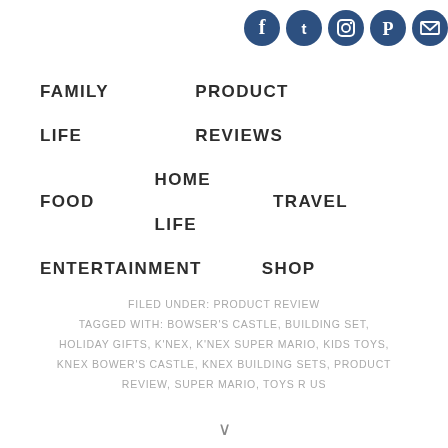[Figure (other): Social media icons: Facebook, Twitter, Instagram, Pinterest, Email]
FAMILY LIFE   PRODUCT REVIEWS   FOOD   HOME LIFE   TRAVEL   ENTERTAINMENT   SHOP
FILED UNDER: PRODUCT REVIEW
TAGGED WITH: BOWSER'S CASTLE, BUILDING SET, HOLIDAY GIFTS, K'NEX, K'NEX SUPER MARIO, KIDS TOYS, KNEX BOWER'S CASTLE, KNEX BUILDING SETS, PRODUCT REVIEW, SUPER MARIO, TOYS R US